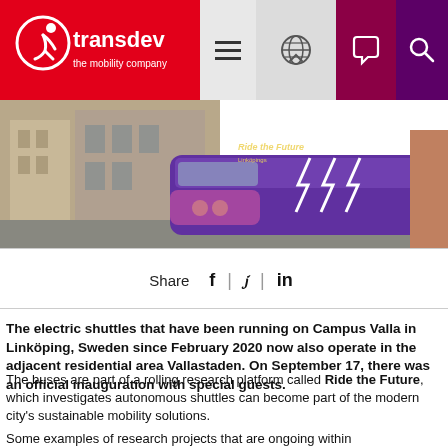Transdev – the mobility company
[Figure (photo): Pink and purple electric autonomous shuttle bus parked in front of a building, with 'Ride the Future' text on the bus wrap]
Share  f  |  🐦  |  in
The electric shuttles that have been running on Campus Valla in Linköping, Sweden since February 2020 now also operate in the adjacent residential area Vallastaden. On September 17, there was an official inauguration with special guests.
The buses are part of a rolling research platform called Ride the Future, which investigates autonomous shuttles can become part of the modern city's sustainable mobility solutions.
Some examples of research projects that are ongoing within